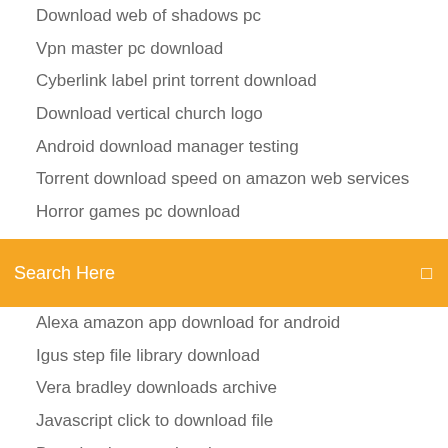Download web of shadows pc
Vpn master pc download
Cyberlink label print torrent download
Download vertical church logo
Android download manager testing
Torrent download speed on amazon web services
Horror games pc download
[Figure (screenshot): Orange/yellow search bar with text 'Search Here' in white and a search icon on the right]
Alexa amazon app download for android
Igus step file library download
Vera bradley downloads archive
Javascript click to download file
Download torrent the nice guys
Minecraft windows 10 edition full download
Download android x86 8.1 iso
Woohoo mod sims 4 download
Acer computer wifi driver download
Notre dame in flames mp4 download metropole